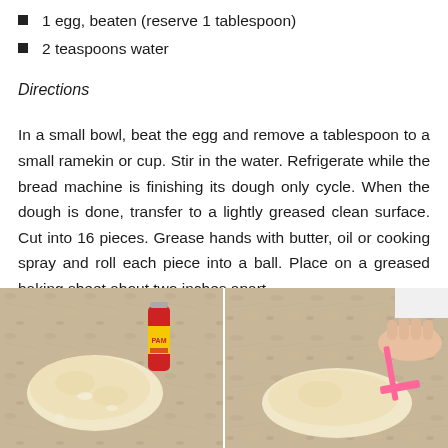1 egg, beaten (reserve 1 tablespoon)
2 teaspoons water
Directions
In a small bowl, beat the egg and remove a tablespoon to a small ramekin or cup. Stir in the water. Refrigerate while the bread machine is finishing its dough only cycle. When the dough is done, transfer to a lightly greased clean surface. Cut into 16 pieces. Grease hands with butter, oil or cooking spray and roll each piece into a ball. Place on a greased baking sheet about two inches apart.
[Figure (photo): Two side-by-side photos showing bread dough preparation: left photo shows a ball of dough on a granite counter with a PAM cooking spray can; right photo shows hands cutting the dough with a pink scraper/cutter on a granite counter.]